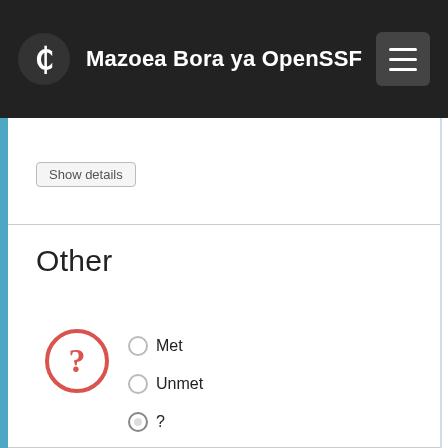Mazoea Bora ya OpenSSF
(Show details button at top)
Other
Met
Unmet
?
The project MUST include a copyright statement in each source file, identifying the copyright holder (e.g., the [project name] contributors). [copyright_per_file]
Show details